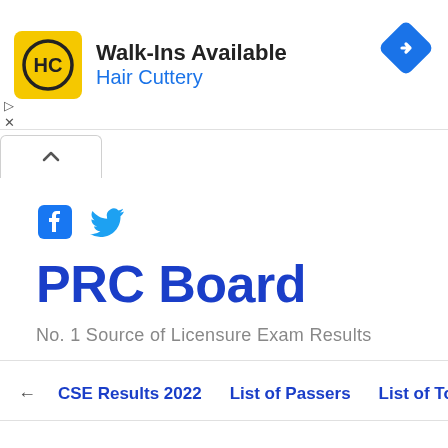[Figure (screenshot): Hair Cuttery advertisement banner with yellow logo showing 'HC', text 'Walk-Ins Available' and 'Hair Cuttery', and a blue diamond navigation icon on the right. Ad controls (triangle and X) on the left side.]
[Figure (screenshot): Collapse/chevron-up button below the ad banner]
[Figure (screenshot): Facebook and Twitter social media icons]
PRC Board
No. 1 Source of Licensure Exam Results
← CSE Results 2022   List of Passers   List of To